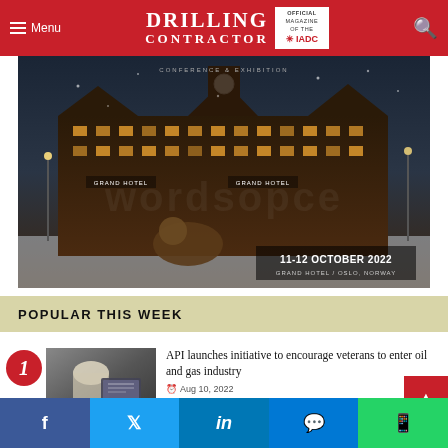Menu | DRILLING CONTRACTOR | Official Magazine of the IADC
[Figure (photo): Advertisement for a conference and exhibition at Grand Hotel, Oslo, Norway on 11-12 October 2022. Shows nighttime photo of Grand Hotel building with lion statue in foreground.]
POPULAR THIS WEEK
[Figure (photo): Thumbnail image of a worker in a hard hat looking at a tablet/screen]
API launches initiative to encourage veterans to enter oil and gas industry
Aug 10, 2022